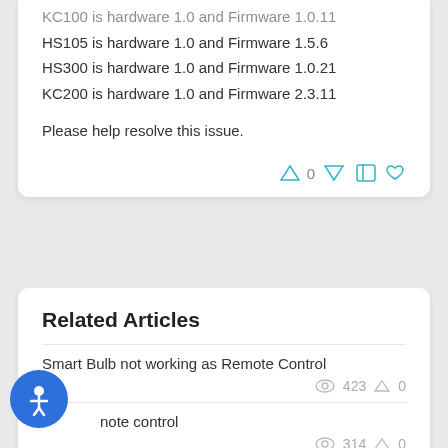KC100 is hardware 1.0 and Firmware 1.0.11
HS105 is hardware 1.0 and Firmware 1.5.6
HS300 is hardware 1.0 and Firmware 1.0.21
KC200 is hardware 1.0 and Firmware 2.3.11
Please help resolve this issue.
Related Articles
Smart Bulb not working as Remote Control
423  △ 0
note control
314  △ 0